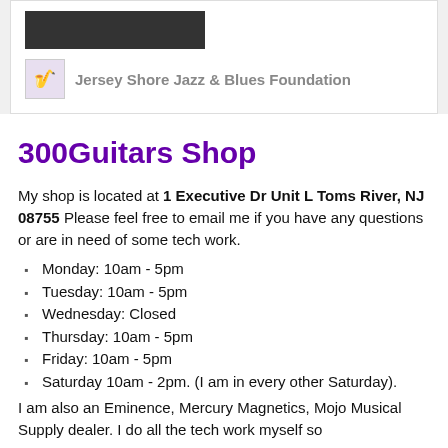[Figure (photo): Dark photo strip at top of card]
Jersey Shore Jazz & Blues Foundation
300Guitars Shop
My shop is located at 1 Executive Dr Unit L Toms River, NJ 08755 Please feel free to email me if you have any questions or are in need of some tech work.
Monday: 10am - 5pm
Tuesday: 10am - 5pm
Wednesday: Closed
Thursday: 10am - 5pm
Friday: 10am - 5pm
Saturday 10am - 2pm. (I am in every other Saturday).
I am also an Eminence, Mercury Magnetics, Mojo Musical Supply dealer. I do all the tech work myself so